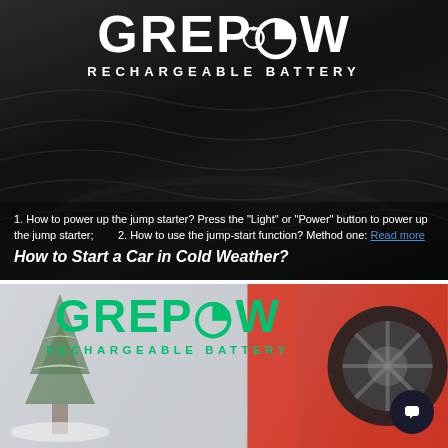[Figure (photo): Dark car interior close-up photo with Grepow Rechargeable Battery logo overlaid in white at top, and descriptive text overlay at bottom. Shows steering wheel area.]
1. How to power up the jump starter? Press the "Light" or "Power" button to power up the jump starter;        2. How to use the jump-start function? Method one: Read more
How to Start a Car in Cold Weather?
[Figure (photo): Photo of a car in cold winter weather with snow-covered tree visible, red car wheel on right side. Grepow Rechargeable Battery logo overlaid in green. Chat button in bottom right.]